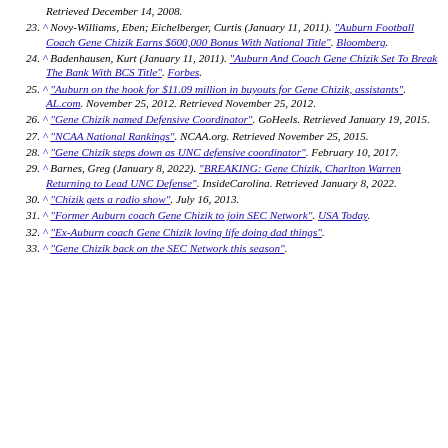Retrieved December 14, 2008.
23. ^ Novy-Williams, Eben; Eichelberger, Curtis (January 11, 2011). "Auburn Football Coach Gene Chizik Earns $600,000 Bonus With National Title". Bloomberg.
24. ^ Badenhausen, Kurt (January 11, 2011). "Auburn And Coach Gene Chizik Set To Break The Bank With BCS Title". Forbes.
25. ^ "Auburn on the hook for $11.09 million in buyouts for Gene Chizik, assistants". AL.com. November 25, 2012. Retrieved November 25, 2012.
26. ^ "Gene Chizik named Defensive Coordinator". GoHeels. Retrieved January 19, 2015.
27. ^ "NCAA National Rankings". NCAA.org. Retrieved November 25, 2015.
28. ^ "Gene Chizik steps down as UNC defensive coordinator". February 10, 2017.
29. ^ Barnes, Greg (January 8, 2022). "BREAKING: Gene Chizik, Charlton Warren Returning to Lead UNC Defense". InsideCarolina. Retrieved January 8, 2022.
30. ^ "Chizik gets a radio show". July 16, 2013.
31. ^ "Former Auburn coach Gene Chizik to join SEC Network". USA Today.
32. ^ "Ex-Auburn coach Gene Chizik loving life doing dad things".
33. ^ "Gene Chizik back on the SEC Network this season".